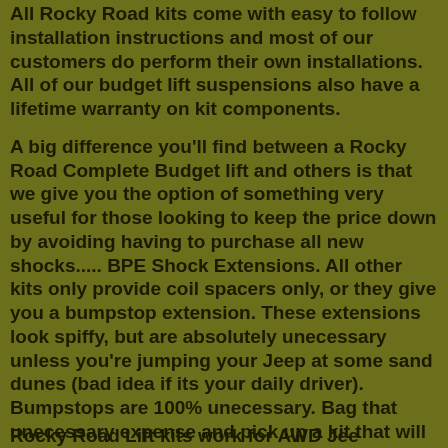All Rocky Road kits come with easy to follow installation instructions and most of our customers do perform their own installations. All of our budget lift suspensions also have a lifetime warranty on kit components.
A big difference you'll find between a Rocky Road Complete Budget lift and others is that we give you the option of something very useful for those looking to keep the price down by avoiding having to purchase all new shocks..... BPE Shock Extensions. All other kits only provide coil spacers only, or they give you a bumpstop extension. These extensions look spiffy, but are absolutely unecessary unless you're jumping your Jeep at some sand dunes (bad idea if its your daily driver). Bumpstops are 100% unecessary. Bag that unecessary expense and pick up a kit that will actually improve your suspension flex instead of worsening it. Our Shock Extensions do the trick!!!
Rocky Road Lift kits work for AWD Jeep...